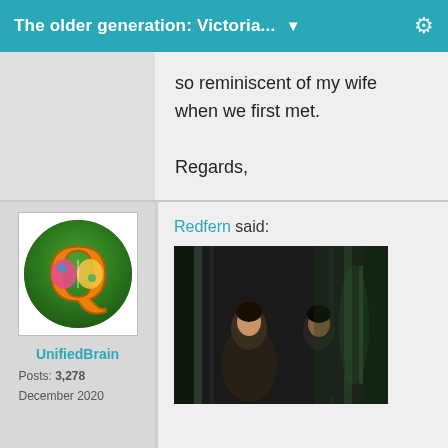The older generation: Victoria... ▼
so reminiscent of my wife when we first met.

Regards,

Richard.
UnifiedBrain
Posts: 3,278
December 2020
Redfern said:
[Figure (photo): Dark movie scene with two people in a dimly lit room with metal walls/structures]
[Figure (logo): UnifiedBrain avatar: stylized Q logo with colorful brain and green leaf background]